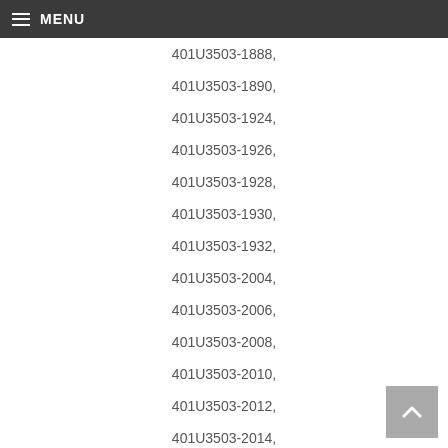MENU
401U3503-1888,
401U3503-1890,
401U3503-1924,
401U3503-1926,
401U3503-1928,
401U3503-1930,
401U3503-1932,
401U3503-2004,
401U3503-2006,
401U3503-2008,
401U3503-2010,
401U3503-2012,
401U3503-2014,
401U3503-2020,
401U3503-2022,